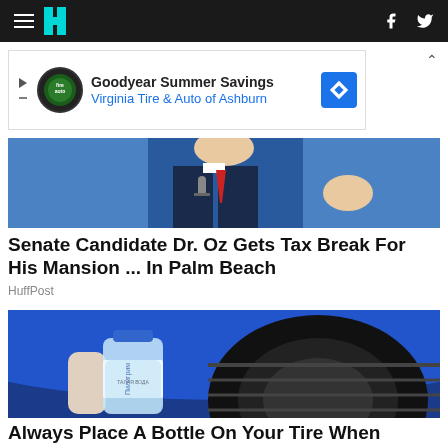HuffPost navigation bar with hamburger menu, logo, Facebook and Twitter icons
[Figure (infographic): Goodyear Summer Savings advertisement - Virginia Tire & Auto of Ashburn]
[Figure (photo): Person in suit speaking into microphone - Senate candidate Dr. Oz]
Senate Candidate Dr. Oz Gets Tax Break For His Mansion ... In Palm Beach
HuffPost
[Figure (photo): Hand holding water bottle against car tire - water bottle on tire article]
Always Place A Bottle On Your Tire When